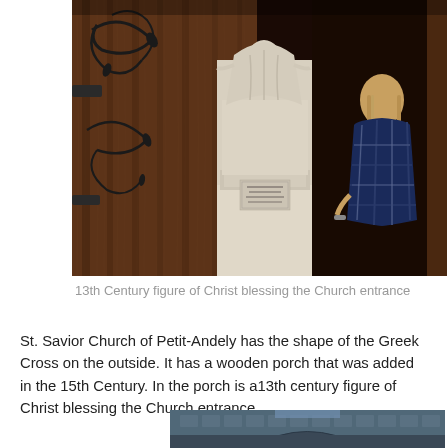[Figure (photo): Interior of St. Savior Church of Petit-Andely showing a white marble statue/figure of Christ on a pedestal in the center, with dark wooden doors decorated with iron scrollwork on the left, and a person with blonde hair wearing a dark blue plaid top visible on the right side.]
13th Century figure of Christ blessing the Church entrance
St. Savior Church of Petit-Andely has the shape of the Greek Cross on the outside.  It has a wooden porch that was added in the 15th Century. In the porch is a13th century figure of Christ blessing the Church entrance.
[Figure (photo): Partial view of the bottom of another church photo, showing roofline or architectural detail in dark slate/blue-grey tones.]